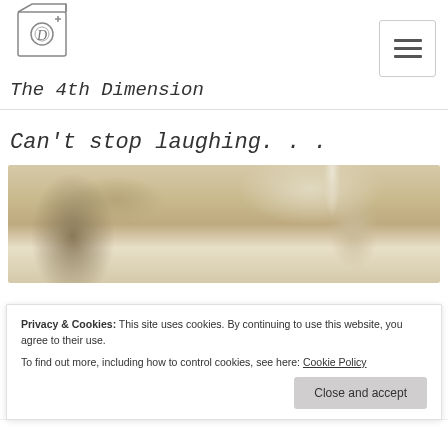[Figure (logo): Sketch-style illustration of a box/cube with a camera lens and the letter D, representing 'The 4th Dimension' blog logo]
The 4th Dimension
Can't stop laughing. . .
[Figure (photo): Blurred outdoor nature photo showing dry grassland and trees in warm sunlight]
Privacy & Cookies: This site uses cookies. By continuing to use this website, you agree to their use.
To find out more, including how to control cookies, see here: Cookie Policy
Close and accept